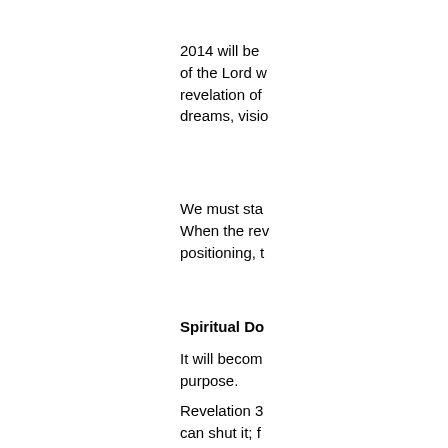2014  will be of the Lord w revelation of dreams, visio
We  must sta When the rev positioning, t
Spiritual Do
It  will becom purpose.
Revelation 3 can shut it; f